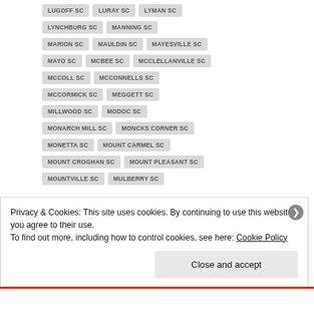LUGOFF SC
LURAY SC
LYMAN SC
LYNCHBURG SC
MANNING SC
MARION SC
MAULDIN SC
MAYESVILLE SC
MAYO SC
MCBEE SC
MCCLELLANVILLE SC
MCCOLL SC
MCCONNELLS SC
MCCORMICK SC
MEGGETT SC
MILLWOOD SC
MODOC SC
MONARCH MILL SC
MONCKS CORNER SC
MONETTA SC
MOUNT CARMEL SC
MOUNT CROGHAN SC
MOUNT PLEASANT SC
MOUNTVILLE SC
MULBERRY SC
Privacy & Cookies: This site uses cookies. By continuing to use this website, you agree to their use.
To find out more, including how to control cookies, see here: Cookie Policy
Close and accept